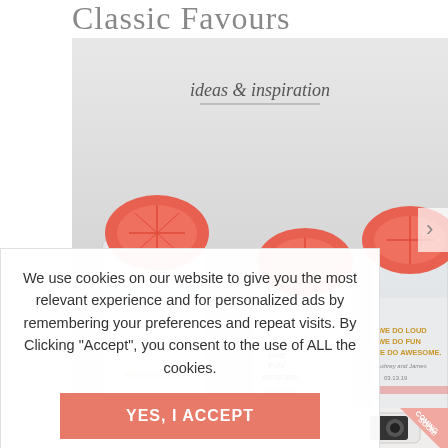Classic Favours
[Figure (photo): Photo of three drinking glasses with grapefruit slices, text 'WE DO LOUD WE DO FUN WE DO AWESOME' printed on the glasses, overlaid with 'ideas & inspiration' text and a horizontal rule]
We use cookies on our website to give you the most relevant experience and for personalized ads by remembering your preferences and repeat visits. By Clicking "Accept", you consent to the use of ALL the cookies.
YES, I ACCEPT
More Info
[Figure (photo): Partial image of a white disposable camera with 'COMING SOON!' ribbon in the top right corner]